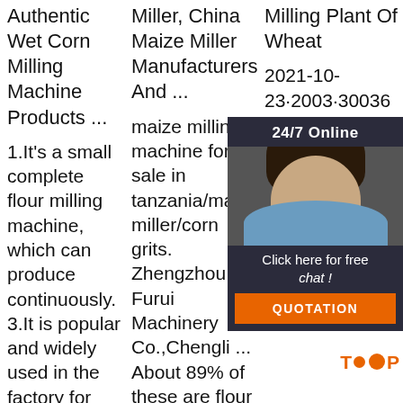Authentic Wet Corn Milling Machine Products ...
1.It's a small complete flour milling machine, which can produce continuously. 3.It is popular and widely used in the factory for small capacity production. 4.It
Miller, China Maize Miller Manufacturers And ...
maize milling machine for sale in tanzania/maize miller/corn grits. Zhengzhou Furui Machinery Co.,Chengli ... About 89% of these are flour mill, 1% are
Milling Plant Of Wheat
2021-10-23·2003·30036 M ha co th pr flo su ec almost 30 years, mainly including wheat maize cleaning equipment
[Figure (other): Customer service chat widget overlay with agent photo, '24/7 Online' header, 'Click here for free chat!' text, and orange QUOTATION button]